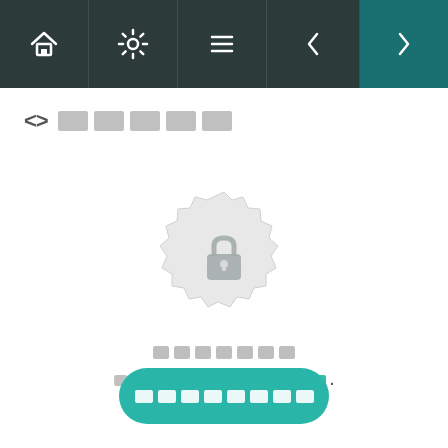[navigation bar with home, settings, list, back arrow, forward arrow icons]
<> [redacted title blocks]
[Figure (illustration): A circular badge/seal icon with a padlock in the center, rendered in light gray tones, indicating locked or restricted content.]
[redacted label text]
[redacted sub-text with teal colored word and period]
[redacted button label on teal rounded button]